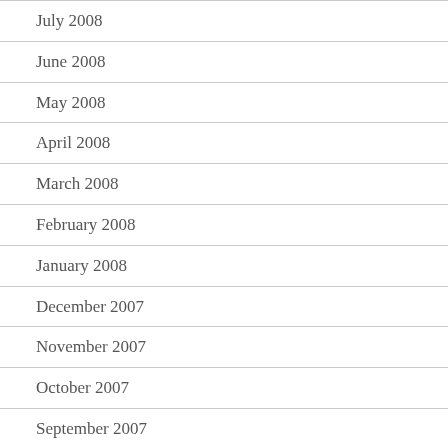July 2008
June 2008
May 2008
April 2008
March 2008
February 2008
January 2008
December 2007
November 2007
October 2007
September 2007
August 2007
July 2007